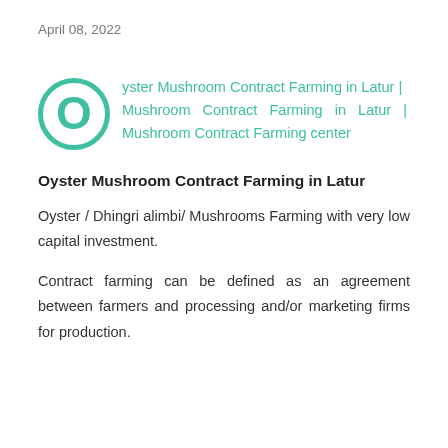April 08, 2022
Oyster Mushroom Contract Farming in Latur | Mushroom Contract Farming in Latur | Mushroom Contract Farming center
Oyster Mushroom Contract Farming in Latur
Oyster / Dhingri alimbi/ Mushrooms Farming with very low capital investment.
Contract farming can be defined as an agreement between farmers and processing and/or marketing firms for production.